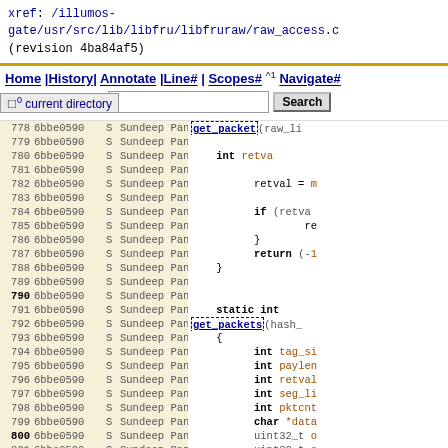xref: /illumos-gate/usr/src/lib/libfru/libfruraw/raw_access.c (revision 4ba84af5)
[Figure (screenshot): Source code browser navigation bar with links: Home | History | Annotate | Line# | Scopes# | Navigate#, search box, Download, Raw, current directory overlay]
[Figure (screenshot): Source code viewer showing file annotation: line numbers 778-802, revision 6bbe0590, author Sundeep Panicker, with C code on right including get_packet, get_packets functions, variable declarations int retval, int tag_size, int paylen, int retval, int seg_li, int pktcnt, char *data, uint32_t, fru_tag_t]